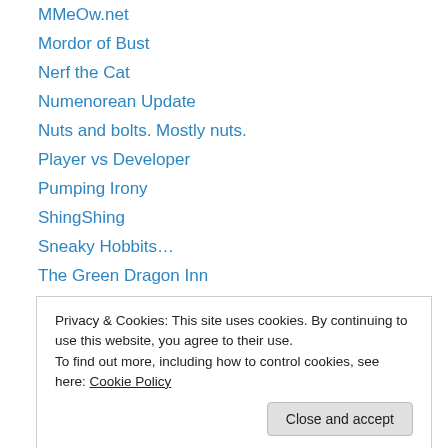MMeOw.net
Mordor of Bust
Nerf the Cat
Numenorean Update
Nuts and bolts. Mostly nuts.
Player vs Developer
Pumping Irony
ShingShing
Sneaky Hobbits…
The Green Dragon Inn
The Hobbit Collective
The Stone Kingdom
The Uruk Hunter
Privacy & Cookies: This site uses cookies. By continuing to use this website, you agree to their use. To find out more, including how to control cookies, see here: Cookie Policy
Gondor Awairs